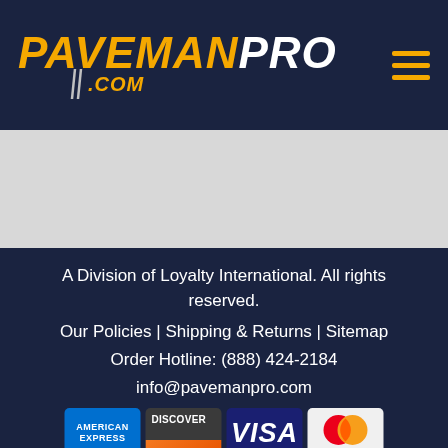PAVEMAN PRO .com
[Figure (logo): PavemanPro.com logo with yellow italic PAVEMAN text, white PRO text, and yellow .com subtitle on dark navy background]
A Division of Loyalty International. All rights reserved.
Our Policies | Shipping & Returns | Sitemap
Order Hotline: (888) 424-2184
info@pavemanpro.com
[Figure (infographic): Payment method icons: American Express, Discover, Visa, Mastercard]